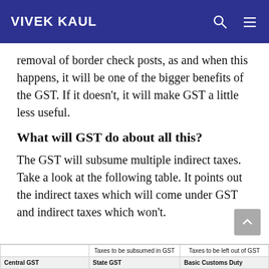VIVEK KAUL
removal of border check posts, as and when this happens, it will be one of the bigger benefits of the GST. If it doesn't, it will make GST a little less useful.
What will GST do about all this?
The GST will subsume multiple indirect taxes. Take a look at the following table. It points out the indirect taxes which will come under GST and indirect taxes which won't.
|  | Taxes to be subsumed in GST | Taxes to be left out of GST |
| --- | --- | --- |
| Central GST | State GST | Basic Customs Duty |